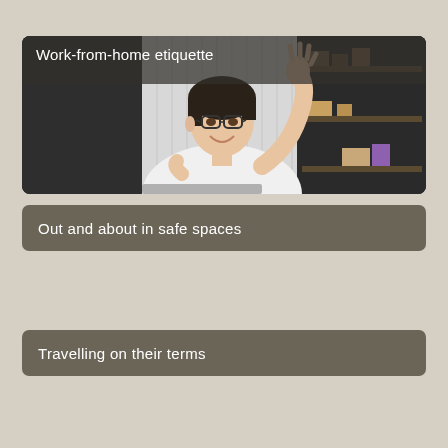[Figure (photo): A young man with glasses wearing a white t-shirt, smiling and waving at a laptop screen during a video call. Office/home background with shelving visible. Dark semi-transparent overlay on left with title text 'Work-from-home etiquette'.]
Out and about in safe spaces
Travelling on their terms